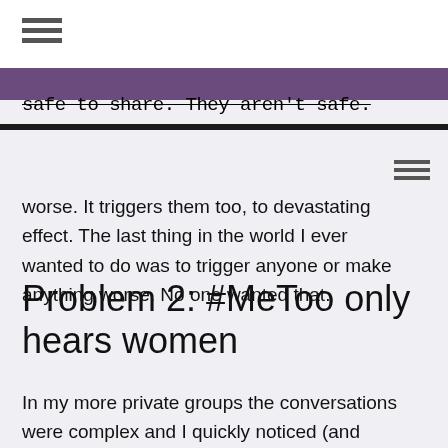safe to share. They aren't safe.
worse. It triggers them too, to devastating effect. The last thing in the world I ever wanted to do was to trigger anyone or make anything worse. No one wanted that.
Problem 2: #MeToo only hears women
In my more private groups the conversations were complex and I quickly noticed (and disliked) that this has turned into a highly binary